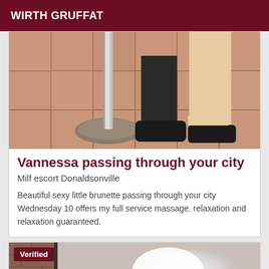WIRTH GRUFFAT
[Figure (photo): Close-up photo of legs/feet in black shoes and black socks standing on terracotta tile floor next to a metal pole base]
Vannessa passing through your city
Milf escort Donaldsonville
Beautiful sexy little brunette passing through your city Wednesday 10 offers my full service massage. relaxation and relaxation guaranteed.
[Figure (photo): Partially visible photo with a 'Verified' badge overlay, showing a bright light and partial door/brick wall]
Verified